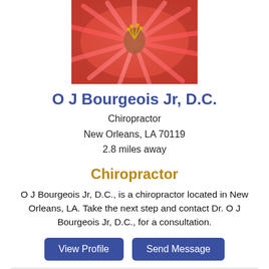[Figure (photo): Close-up photo of a red flower with yellow stamens]
O J Bourgeois Jr, D.C.
Chiropractor
New Orleans, LA 70119
2.8 miles away
Chiropractor
O J Bourgeois Jr, D.C., is a chiropractor located in New Orleans, LA. Take the next step and contact Dr. O J Bourgeois Jr, D.C., for a consultation.
[Figure (other): Two buttons: View Profile and Send Message]
[Figure (photo): Photo of rocky coastal cliffs with blue sea and sky]